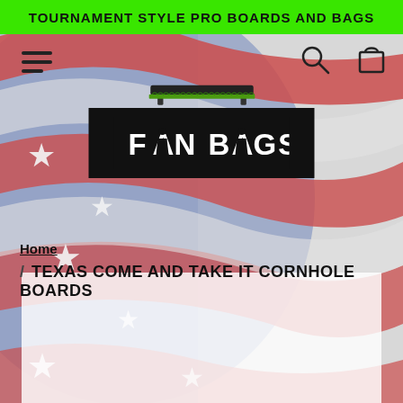[Figure (screenshot): Background: American flag with red, white, blue stripes and white stars, distressed/textured style, used as full-page background]
TOURNAMENT STYLE PRO BOARDS AND BAGS
[Figure (logo): Fan Bags logo: black bench/board graphic above a black rectangle with white bold text reading FAN BAGS, with stylized A icons]
Home
TEXAS COME AND TAKE IT CORNHOLE BOARDS